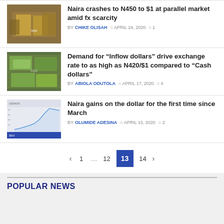[Figure (photo): Hands holding Nigerian Naira cash notes]
Naira crashes to N450 to $1 at parallel market amid fx scarcity
BY CHIKE OLISAH  APRIL 24, 2020  1
[Figure (photo): Stack of US dollar bills]
Demand for “Inflow dollars” drive exchange rate to as high as N420/$1 compared to “Cash dollars”
BY ABIOLA ODUTOLA  APRIL 17, 2020  4
[Figure (screenshot): Financial chart showing Naira exchange rate data]
Naira gains on the dollar for the first time since March
BY OLUMIDE ADESINA  APRIL 15, 2020  2
< 1 ... 12 13 14 >
POPULAR NEWS